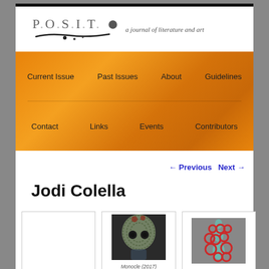P.O.S.I.T. · a journal of literature and art
Current Issue
Past Issues
About
Guidelines
Contact
Links
Events
Contributors
← Previous   Next →
Jodi Colella
[Figure (photo): Empty white gallery box placeholder]
[Figure (photo): Sculpture photograph: a person wearing a large ceramic helmet/mask with coiled green-grey clay surface and multiple cylindrical openings, resembling an industrial gas mask. Dark studio background.]
Monocle (2017)
[Figure (photo): Sculpture photograph: an abstract vertical sculpture composed of many red looping wire rings interwoven with teal/mint green ovoid ceramic forms, photographed against a grey background.]